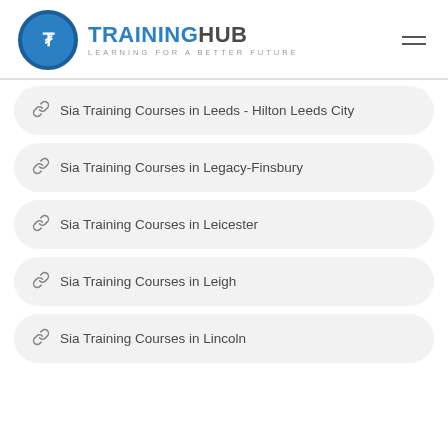TRAININGHUB - LEARNING FOR A BETTER FUTURE
Sia Training Courses in Leeds - Hilton Leeds City
Sia Training Courses in Legacy-Finsbury
Sia Training Courses in Leicester
Sia Training Courses in Leigh
Sia Training Courses in Lincoln